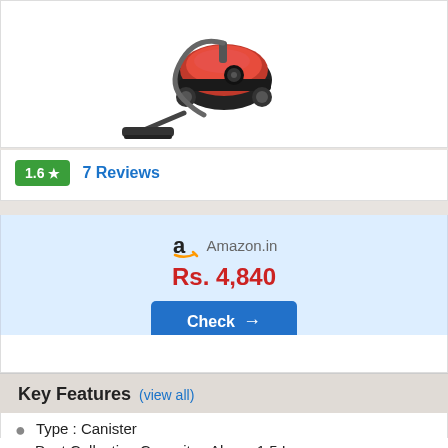[Figure (photo): Canister vacuum cleaner product photo, red and black colors, with suction tube and floor brush head]
1.6 ★  7 Reviews
Amazon.in
Rs. 4,840
Check →
Key Features (view all)
Type : Canister
Dust Collecting Capacity : Above 1.5 L
Run Time : 30 min
Cord Length : 6 m